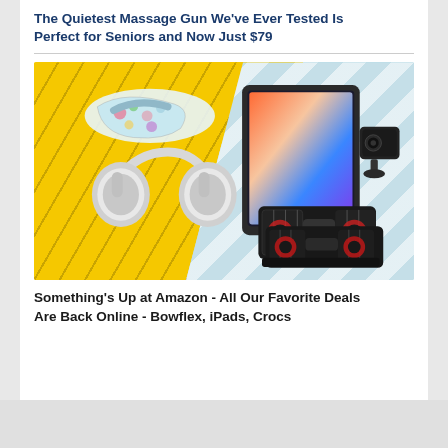The Quietest Massage Gun We've Ever Tested Is Perfect for Seniors and Now Just $79
[Figure (photo): Promotional collage image showing various Amazon deals: floral Crocs shoes, Apple AirPods Max headphones (silver), an Apple iPad (9th gen), a small security camera, and Bowflex adjustable dumbbells, arranged on a yellow and light blue background]
Something's Up at Amazon - All Our Favorite Deals Are Back Online - Bowflex, iPads, Crocs